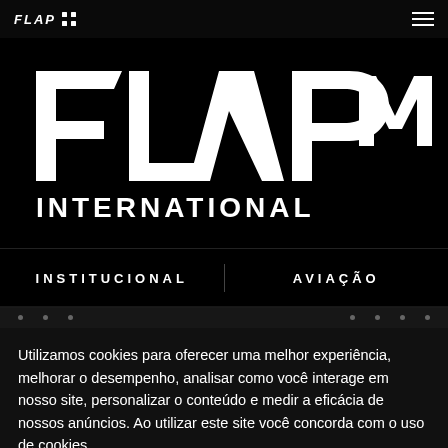FLAP [grid icon] [hamburger menu]
[Figure (logo): FLAP INTERNATIONAL logo in large bold italic white text on black background, with stylized 'm' or '77' symbol to the right]
INSTITUCIONAL
AVIAÇÃO
Utilizamos cookies para oferecer uma melhor experiência, melhorar o desempenho, analisar como você interage em nosso site, personalizar o conteúdo e medir a eficácia de nossos anúncios. Ao utilizar este site você concorda com o uso de cookies.
Aceitar